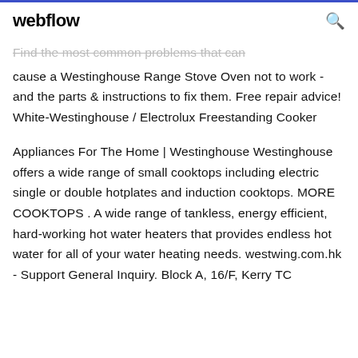webflow
Find the most common problems that can cause a Westinghouse Range Stove Oven not to work - and the parts & instructions to fix them. Free repair advice! White-Westinghouse / Electrolux Freestanding Cooker
Appliances For The Home | Westinghouse Westinghouse offers a wide range of small cooktops including electric single or double hotplates and induction cooktops. MORE COOKTOPS . A wide range of tankless, energy efficient, hard-working hot water heaters that provides endless hot water for all of your water heating needs. westwing.com.hk - Support General Inquiry. Block A, 16/F, Kerry TC